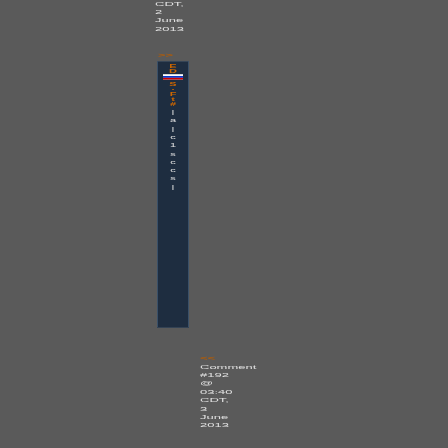CDT,
2
June
2013
>>
[Figure (screenshot): Dark navy blue vertical navigation sidebar box with orange and white text/letters and a small flag icon, rotated content]
<<
Comment
#192
@
03:40
CDT,
3
June
2013